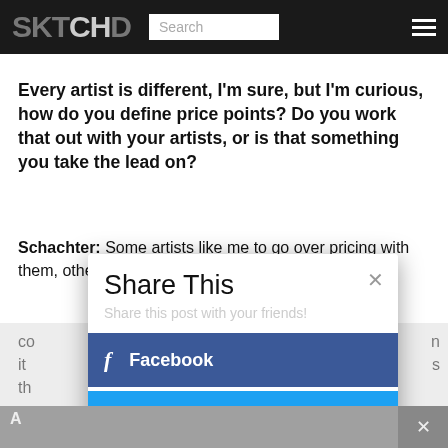SKTCHD  Search  ☰
Every artist is different, I'm sure, but I'm curious, how do you define price points? Do you work that out with your artists, or is that something you take the lead on?
Schachter: Some artists like me to go over pricing with them, others don't. I look at the art and If it's a splash, co... n it... s th... to... n it... on h...
[Figure (screenshot): Share This modal popup with close button (×), subtitle 'Share this post with your friends!', Facebook button in blue, Twitter button in light blue]
A... re...